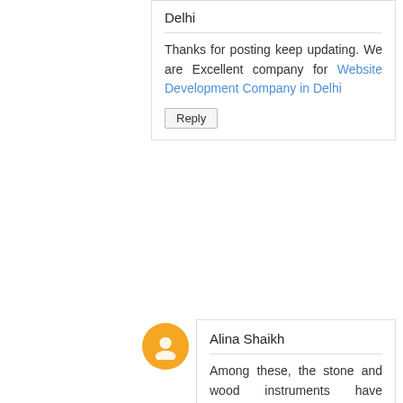Delhi
Thanks for posting keep updating. We are Excellent company for Website Development Company in Delhi
Reply
Alina Shaikh
Among these, the stone and wood instruments have become outdated. Chinese musical instruments may also be classified into string, wind, or percussion instruments. spotistar best of chill tracks 2018
Reply
Brooklyn
At any rate, in case you're here right presently you're presumably